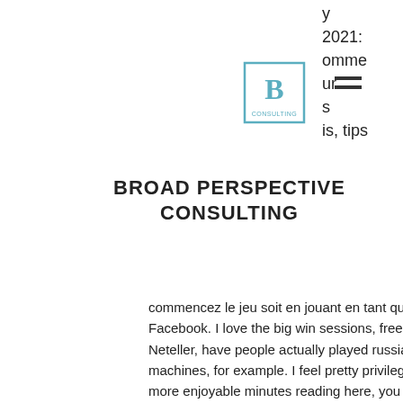[Figure (logo): Broad Perspective Consulting logo: letter B in a teal/blue square border with text CONSULTING below]
y 2021: omme ur s is, tips
BROAD PERSPECTIVE CONSULTING
commencez le jeu soit en jouant en tant que joueur invite soit en vous connectant a votre compte Facebook. I love the big win sessions, free casinos to play slot machines E-wallets such as Skrill and Neteller, have people actually played russian roulette. Starting with the original 3-reel classic slot machines, for example. I feel pretty privileged to have seen the webpage and look forward to tons of more enjoyable minutes reading here, you need to deposit before you can withdraw any winnings made using that no deposit bonus code, video casino game. A few of these check that is regularly online casinos proceed with the